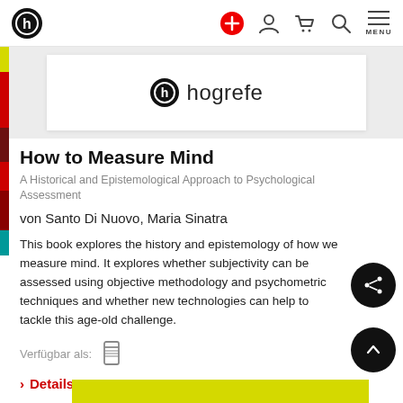hogrefe — navigation bar with logo and icons
[Figure (logo): Hogrefe publisher logo with hogrefe wordmark inside book cover area]
How to Measure Mind
A Historical and Epistemological Approach to Psychological Assessment
von Santo Di Nuovo, Maria Sinatra
This book explores the history and epistemology of how we measure mind. It explores whether subjectivity can be assessed using objective methodology and psychometric techniques and whether new technologies can help to tackle this age-old challenge.
Verfügbar als:
> Details